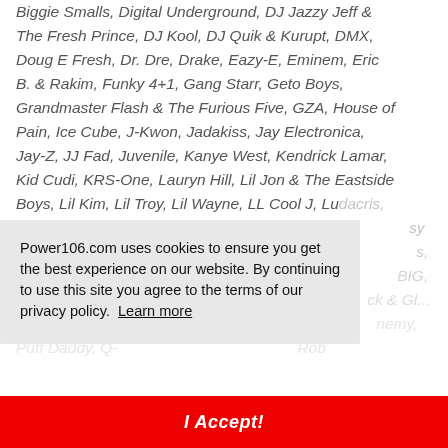Biggie Smalls, Digital Underground, DJ Jazzy Jeff & The Fresh Prince, DJ Kool, DJ Quik & Kurupt, DMX, Doug E Fresh, Dr. Dre, Drake, Eazy-E, Eminem, Eric B. & Rakim, Funky 4+1, Gang Starr, Geto Boys, Grandmaster Flash & The Furious Five, GZA, House of Pain, Ice Cube, J-Kwon, Jadakiss, Jay Electronica, Jay-Z, JJ Fad, Juvenile, Kanye West, Kendrick Lamar, Kid Cudi, KRS-One, Lauryn Hill, Lil Jon & The Eastside Boys, Lil Kim, Lil Troy, Lil Wayne, LL Cool J, Ludacris, Missy Elliott, Mobb Deep, Nas, Notorious B.I.G., Nicki Minaj, Ol' Dirty Bastard, OutKast, Outkast, Public Enemy, Puff Daddy, Q-Tip, Rakim, Rick Ross, Rob...
Power106.com uses cookies to ensure you get the best experience on our website. By continuing to use this site you agree to the terms of our privacy policy. Learn more
I Accept!